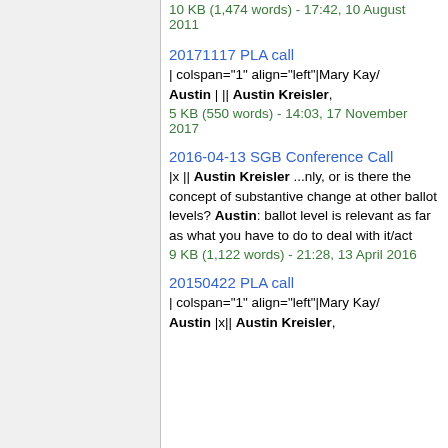10 KB (1,474 words) - 17:42, 10 August 2011
20171117 PLA call
| colspan="1" align="left"|Mary Kay/Austin | || Austin Kreisler,
5 KB (550 words) - 14:03, 17 November 2017
2016-04-13 SGB Conference Call
|x || Austin Kreisler ...nly, or is there the concept of substantive change at other ballot levels? Austin: ballot level is relevant as far as what you have to do to deal with it/act
9 KB (1,122 words) - 21:28, 13 April 2016
20150422 PLA call
| colspan="1" align="left"|Mary Kay/Austin |x|| Austin Kreisler,